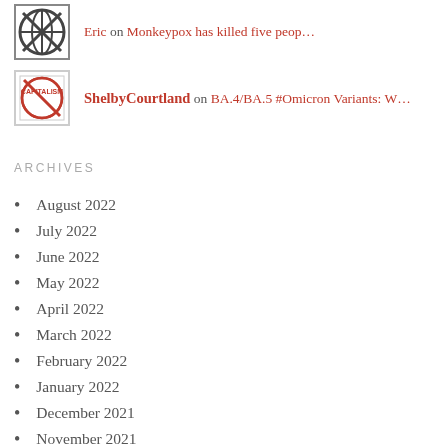Eric on Monkeypox has killed five peop…
ShelbyCourtland on BA.4/BA.5 #Omicron Variants: W…
ARCHIVES
August 2022
July 2022
June 2022
May 2022
April 2022
March 2022
February 2022
January 2022
December 2021
November 2021
October 2021
September 2021